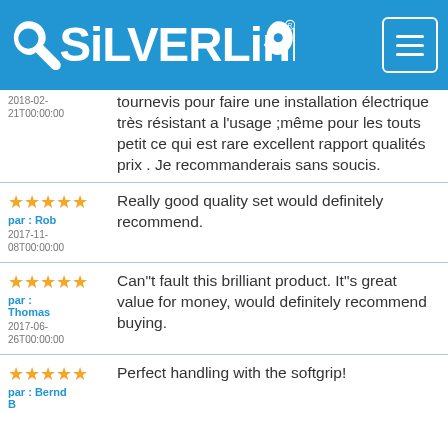[Figure (logo): Silverline tools logo — white wrench-shaped text on blue background with menu hamburger button]
2018-02-21T00:00:00
tournevis pour faire une installation électrique très résistant a l'usage ;même pour les touts petit ce qui est rare excellent rapport qualités prix . Je recommanderais sans soucis.
par : Rob
2017-11-08T00:00:00
Really good quality set would definitely recommend.
par : Thomas
2017-06-26T00:00:00
Can"t fault this brilliant product. It"s great value for money, would definitely recommend buying.
par : Bernd B
Perfect handling with the softgrip!